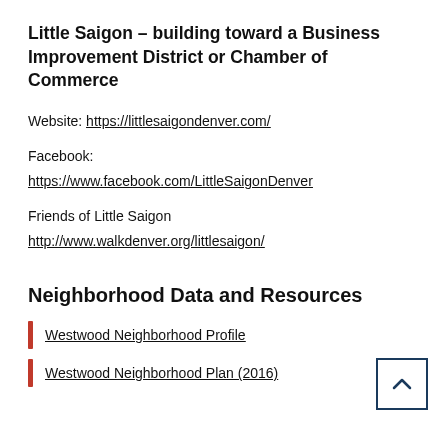Little Saigon – building toward a Business Improvement District or Chamber of Commerce
Website: https://littlesaigondenver.com/
Facebook:
https://www.facebook.com/LittleSaigonDenver
Friends of Little Saigon
http://www.walkdenver.org/littlesaigon/
Neighborhood Data and Resources
Westwood Neighborhood Profile
Westwood Neighborhood Plan (2016)